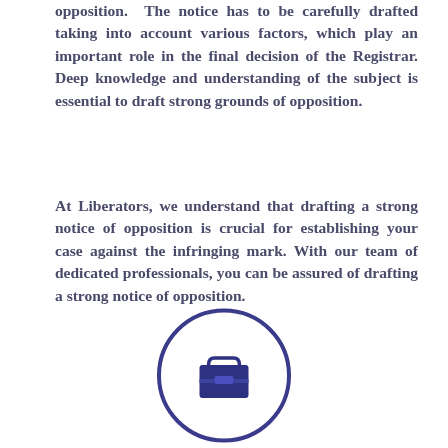opposition.  The notice has to be carefully drafted taking into account various factors, which play an important role in the final decision of the Registrar. Deep knowledge and understanding of the subject is essential to draft strong grounds of opposition.
At Liberators, we understand that drafting a strong notice of opposition is crucial for establishing your case against the infringing mark. With our team of dedicated professionals, you can be assured of drafting a strong notice of opposition.
[Figure (illustration): A circular icon outline in dark blue/indigo color containing a briefcase icon in the center]